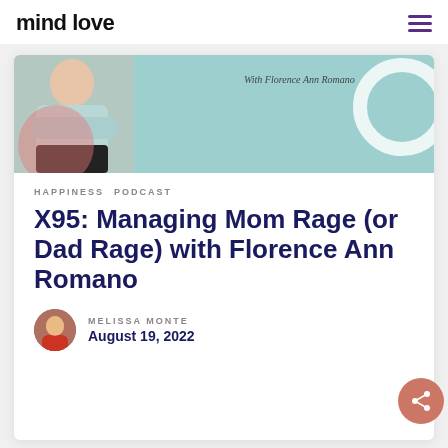mind love
[Figure (photo): Podcast episode card image showing a person in a light blue sweater with arms crossed against a teal/mint background, with decorative white circle element. Text overlay reads 'With Florence Ann Romano'.]
HAPPINESS   PODCAST
X95: Managing Mom Rage (or Dad Rage) with Florence Ann Romano
MELISSA MONTE
August 19, 2022